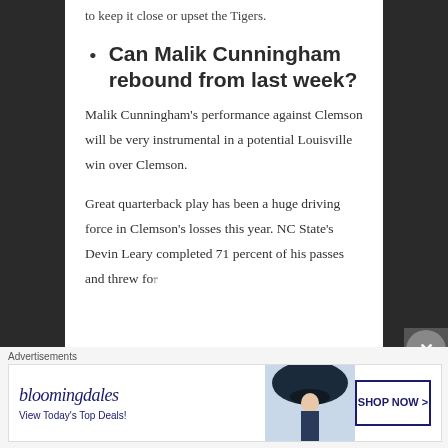to keep it close or upset the Tigers.
Can Malik Cunningham rebound from last week?
Malik Cunningham's performance against Clemson will be very instrumental in a potential Louisville win over Clemson.
Great quarterback play has been a huge driving force in Clemson's losses this year. NC State's Devin Leary completed 71 percent of his passes and threw fo…
Advertisements
[Figure (screenshot): Bloomingdale's advertisement banner: 'bloomingdales / View Today's Top Deals!' with a photo of a woman in a wide-brim hat and a 'SHOP NOW >' button]